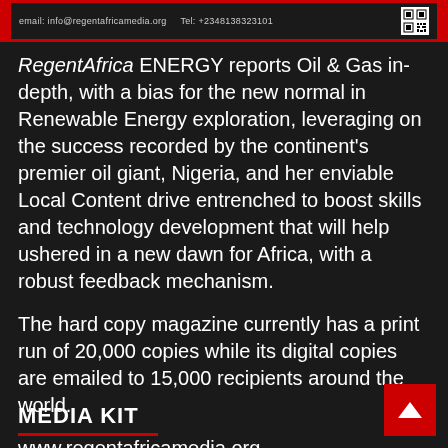email: info@regentafricamedia.org   Tel: +2348138323101
RegentAfrica ENERGY reports Oil & Gas in-depth, with a bias for the new normal in Renewable Energy exploration, leveraging on the success recorded by the continent's premier oil giant, Nigeria, and her enviable Local Content drive entrenched to boost skills and technology development that will help ushered in a new dawn for Africa, with a robust feedback mechanism.
The hard copy magazine currently has a print run of 20,000 copies while its digital copies are emailed to 15,000 recipients around the world.
www.regentafricamedia.org
MEDIA KIT